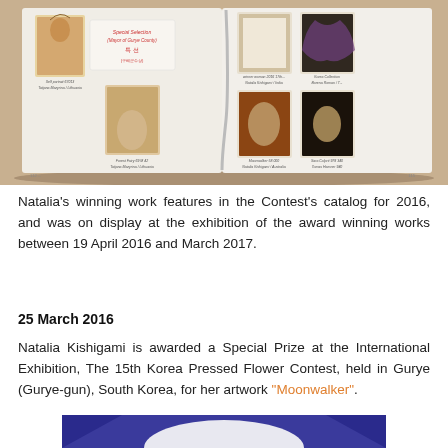[Figure (photo): Photo of an open catalog/book showing pressed flower artwork pages, lying on a wooden surface. The left page shows a 'Special Selection (Mayor of Gurye County)' label with Korean text, and two artworks. The right page shows four more artworks with captions.]
Natalia's winning work features in the Contest's catalog for 2016, and was on display at the exhibition of the award winning works between 19 April 2016 and March 2017.
25 March 2016
Natalia Kishigami is awarded a Special Prize at the International Exhibition, The 15th Korea Pressed Flower Contest, held in Gurye (Gurye-gun), South Korea, for her artwork "Moonwalker".
[Figure (photo): Partial photo of artwork display with blue background, partially visible at bottom of page.]